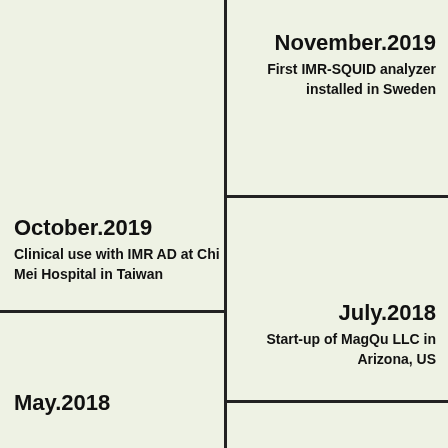November.2019
First IMR-SQUID analyzer installed in Sweden
October.2019
Clinical use with IMR AD at Chi Mei Hospital in Taiwan
July.2018
Start-up of MagQu LLC in Arizona, US
May.2018